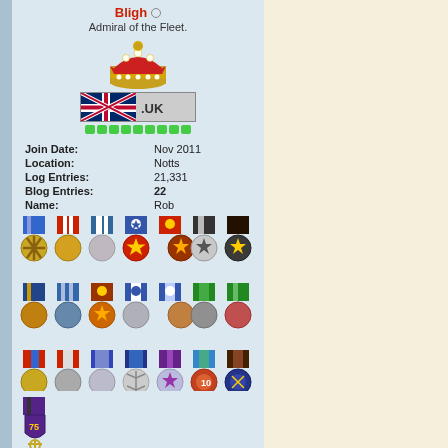[Figure (photo): Profile photo of user Bligh, dark toned portrait image cropped at top]
Bligh
Admiral of the Fleet.
[Figure (illustration): Crown illustration - ornate red and gold royal crown]
[Figure (illustration): UK flag banner with .UK text overlay]
[Figure (illustration): Green progress/reputation bar dots]
| Field | Value |
| --- | --- |
| Join Date: | Nov 2011 |
| Location: | Notts |
| Log Entries: | 21,331 |
| Blog Entries: | 22 |
| Name: | Rob |
[Figure (illustration): Collection of 22 military-style medals and decorations arranged in rows, with ribbons in various colors (blue, red, white, black, green) and circular medal discs with various designs. Final row has 1 medal with purple shield design and anchor.]